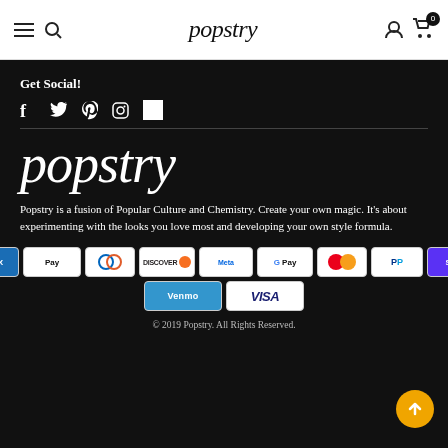popstry — navigation header with menu, search, account, cart icons
Get Social!
[Figure (other): Social media icons: Facebook, Twitter, Pinterest, Instagram, and a white square (TikTok or other)]
popstry
Popstry is a fusion of Popular Culture and Chemistry. Create your own magic. It's about experimenting with the looks you love most and developing your own style formula.
[Figure (other): Payment method logos: American Express, Apple Pay, Diners, Discover, Meta Pay, Google Pay, Mastercard, PayPal, Shop Pay, Venmo, Visa]
© 2019 Popstry. All Rights Reserved.